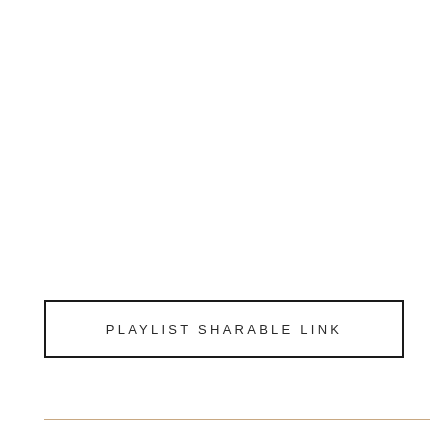PLAYLIST SHARABLE LINK
[Figure (other): Horizontal decorative line in tan/gold color near the bottom of the page]